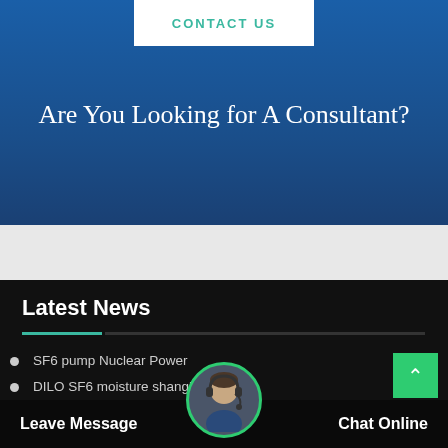CONTACT US
Are You Looking for A Consultant?
Latest News
SF6 pump Nuclear Power
DILO SF6 moisture shanghai
Gas-insulated switch SF6 moisture Kolkata
Priceses Of SF6 vacuum pump Nuclear Power
Procurement SF6 equipment ...
Leave Message
Chat Online